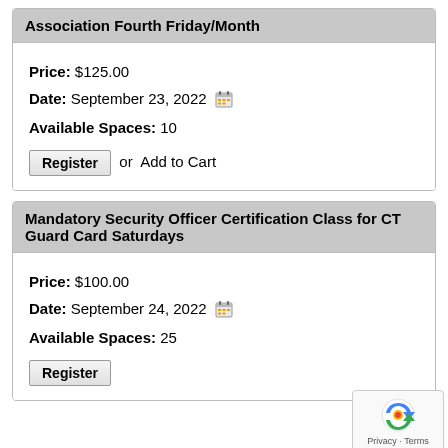Association Fourth Friday/Month
Price: $125.00
Date: September 23, 2022
Available Spaces: 10
Register or Add to Cart
Mandatory Security Officer Certification Class for CT Guard Card Saturdays
Price: $100.00
Date: September 24, 2022
Available Spaces: 25
Register